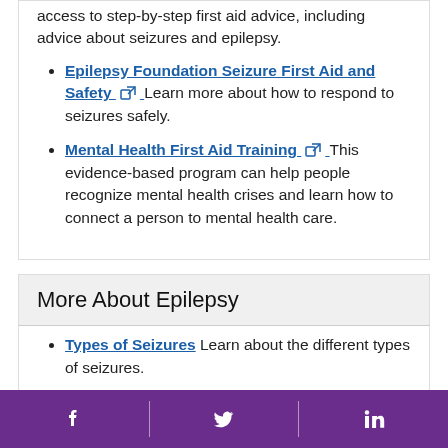access to step-by-step first aid advice, including advice about seizures and epilepsy.
Epilepsy Foundation Seizure First Aid and Safety [external link] Learn more about how to respond to seizures safely.
Mental Health First Aid Training [external link] This evidence-based program can help people recognize mental health crises and learn how to connect a person to mental health care.
More About Epilepsy
Types of Seizures Learn about the different types of seizures.
Managing Epilepsy Learn what you can do to
Facebook | Twitter | LinkedIn